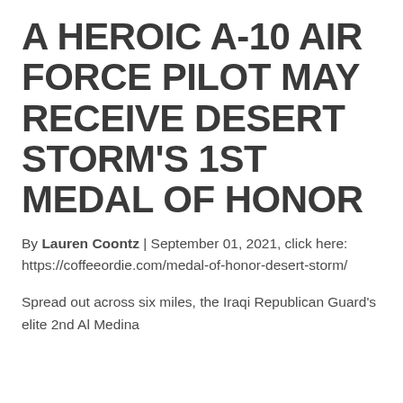A HEROIC A-10 AIR FORCE PILOT MAY RECEIVE DESERT STORM'S 1ST MEDAL OF HONOR
By Lauren Coontz | September 01, 2021, click here: https://coffeeordie.com/medal-of-honor-desert-storm/
Spread out across six miles, the Iraqi Republican Guard's elite 2nd Al Medina